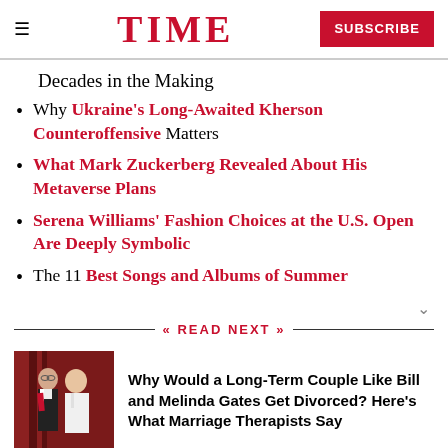TIME  SUBSCRIBE
Decades in the Making
Why Ukraine's Long-Awaited Kherson Counteroffensive Matters
What Mark Zuckerberg Revealed About His Metaverse Plans
Serena Williams' Fashion Choices at the U.S. Open Are Deeply Symbolic
The 11 Best Songs and Albums of Summer
READ NEXT
Why Would a Long-Term Couple Like Bill and Melinda Gates Get Divorced? Here's What Marriage Therapists Say